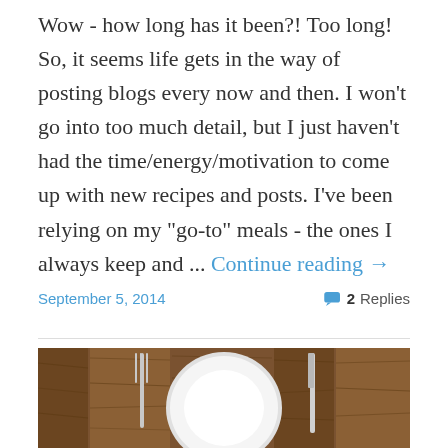Wow - how long has it been?! Too long! So, it seems life gets in the way of posting blogs every now and then. I won't go into too much detail, but I just haven't had the time/energy/motivation to come up with new recipes and posts. I've been relying on my "go-to" meals - the ones I always keep and ... Continue reading →
September 5, 2014    2 Replies
[Figure (photo): A white dinner plate with fork on the left and knife on the right, placed on a dark wooden table surface.]